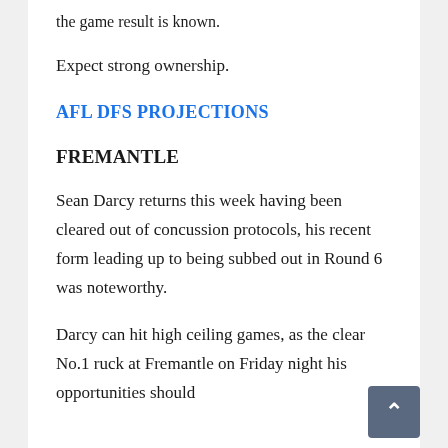the game result is known.
Expect strong ownership.
AFL DFS PROJECTIONS
FREMANTLE
Sean Darcy returns this week having been cleared out of concussion protocols, his recent form leading up to being subbed out in Round 6 was noteworthy.
Darcy can hit high ceiling games, as the clear No.1 ruck at Fremantle on Friday night his opportunities should